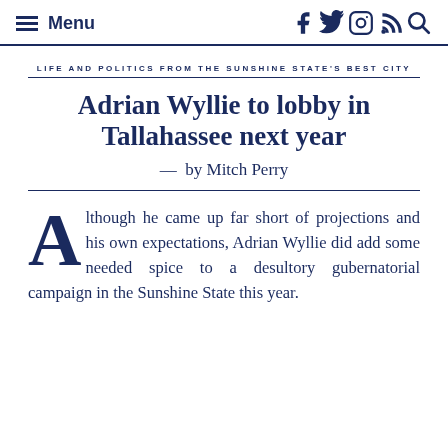≡ Menu | [social icons: Facebook, Twitter, Instagram, RSS, Search]
LIFE AND POLITICS FROM THE SUNSHINE STATE'S BEST CITY
Adrian Wyllie to lobby in Tallahassee next year
— by Mitch Perry
Although he came up far short of projections and his own expectations, Adrian Wyllie did add some needed spice to a desultory gubernatorial campaign in the Sunshine State this year.